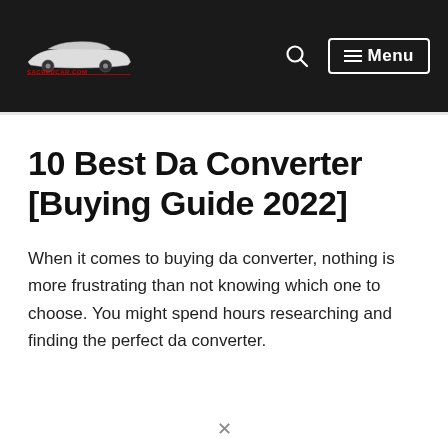sacredcar.com — Menu
10 Best Da Converter [Buying Guide 2022]
When it comes to buying da converter, nothing is more frustrating than not knowing which one to choose. You might spend hours researching and finding the perfect da converter.